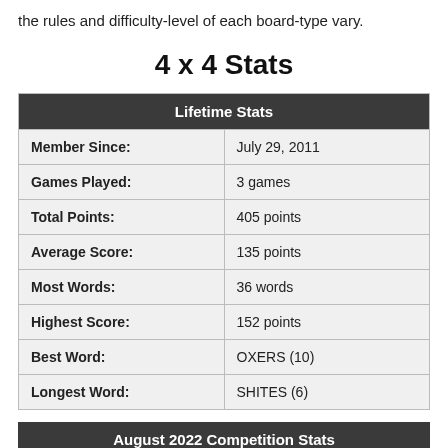the rules and difficulty-level of each board-type vary.
4 x 4 Stats
| Lifetime Stats |  |
| --- | --- |
| Member Since: | July 29, 2011 |
| Games Played: | 3 games |
| Total Points: | 405 points |
| Average Score: | 135 points |
| Most Words: | 36 words |
| Highest Score: | 152 points |
| Best Word: | OXERS (10) |
| Longest Word: | SHITES (6) |
August 2022 Competition Stats